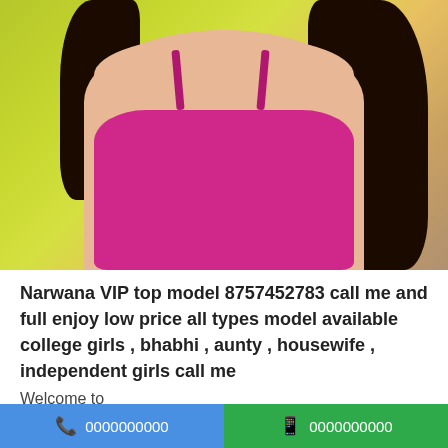[Figure (photo): Photo of a young woman wearing a magenta/pink spaghetti-strap top with long dark hair, posed in front of a yellow-green background]
Narwana VIP top model 8757452783 call me and full enjoy low price all types model available college girls , bhabhi , aunty , housewife , independent girls call me
Welcome to
21 years | Escorts | Narwana | Created : 26/06/2022
0000000000  0000000000